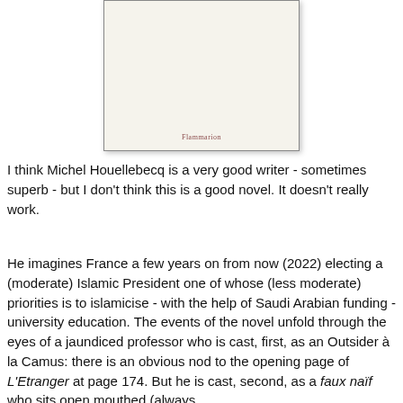[Figure (photo): Book cover of a novel published by Flammarion, showing a minimal off-white cover with the publisher name 'Flammarion' at the bottom.]
I think Michel Houellebecq is a very good writer - sometimes superb - but I don't think this is a good novel. It doesn't really work.
He imagines France a few years on from now (2022) electing a (moderate) Islamic President one of whose (less moderate) priorities is to islamicise - with the help of Saudi Arabian funding - university education. The events of the novel unfold through the eyes of a jaundiced professor who is cast, first, as an Outsider à la Camus: there is an obvious nod to the opening page of L'Etranger at page 174. But he is cast, second, as a faux naïf  who sits open mouthed (always